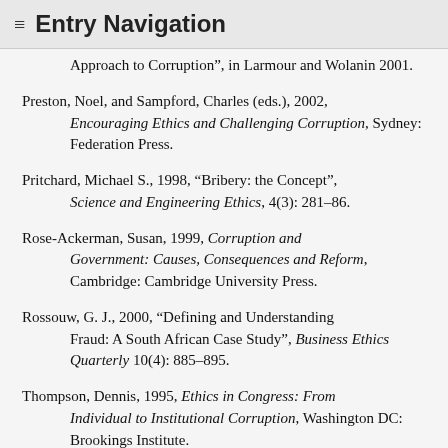≡ Entry Navigation
Approach to Corruption", in Larmour and Wolanin 2001.
Preston, Noel, and Sampford, Charles (eds.), 2002, Encouraging Ethics and Challenging Corruption, Sydney: Federation Press.
Pritchard, Michael S., 1998, "Bribery: the Concept", Science and Engineering Ethics, 4(3): 281–86.
Rose-Ackerman, Susan, 1999, Corruption and Government: Causes, Consequences and Reform, Cambridge: Cambridge University Press.
Rossouw, G. J., 2000, "Defining and Understanding Fraud: A South African Case Study", Business Ethics Quarterly 10(4): 885–895.
Thompson, Dennis, 1995, Ethics in Congress: From Individual to Institutional Corruption, Washington DC: Brookings Institute.
World Bank, 1997, Helping Countries Combat Corruption: The Role of the World Bank, Washington DC: World Bank.